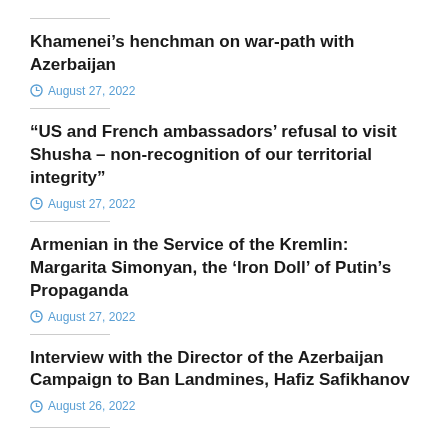Khamenei's henchman on war-path with Azerbaijan
August 27, 2022
“US and French ambassadors’ refusal to visit Shusha – non-recognition of our territorial integrity”
August 27, 2022
Armenian in the Service of the Kremlin: Margarita Simonyan, the ‘Iron Doll’ of Putin’s Propaganda
August 27, 2022
Interview with the Director of the Azerbaijan Campaign to Ban Landmines, Hafiz Safikhanov
August 26, 2022